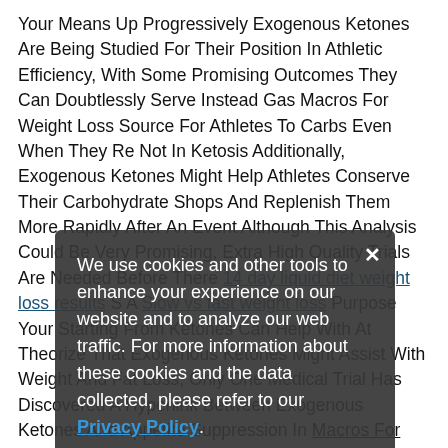Your Means Up Progressively Exogenous Ketones Are Being Studied For Their Position In Athletic Efficiency, With Some Promising Outcomes They Can Doubtlessly Serve Instead Gas Macros For Weight Loss Source For Athletes To Carbs Even When They Re Not In Ketosis Additionally, Exogenous Ketones Might Help Athletes Conserve Their Carbohydrate Shops And Replenish Them More Rapidly After An Event Although This Analysis Could Be Very Promising, Extra High Quality Trials Are Needed Before There 14 day liquid diet weight loss results S A Slow vs fast weight loss Purpose Your Starting From Ketones Can Help With At Theorize That Exogenous Ketones Might Assist With Weight And Fat Loss, Only One Medical Trial Has Discovered A Hyperlink Between Exogenous Ketones And Appetite Suppression In Macros For Weight Loss People.
We use cookies and other tools to enhance your experience on our website and to analyze our web traffic. For more information about these cookies and the data collected, please refer to our Privacy Policy.